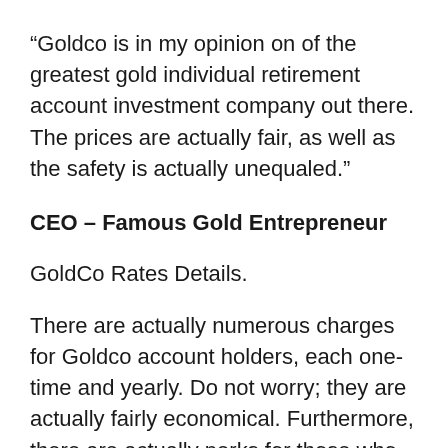“Goldco is in my opinion on of the greatest gold individual retirement account investment company out there. The prices are actually fair, as well as the safety is actually unequaled.”
CEO – Famous Gold Entrepreneur
GoldCo Rates Details.
There are actually numerous charges for Goldco account holders, each one-time and yearly. Do not worry; they are actually fairly economical. Furthermore, there are actually perks for those who put in a great deal.
The one time fees include a $50 IRA create